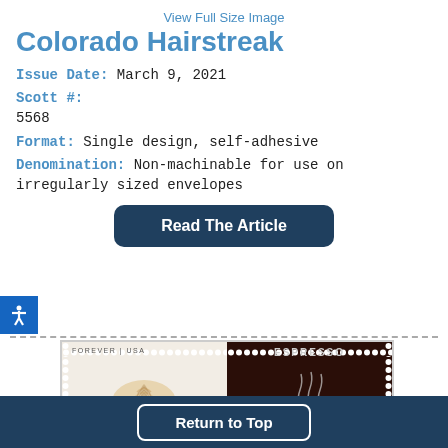View Full Size Image
Colorado Hairstreak
Issue Date: March 9, 2021
Scott #:
5568
Format: Single design, self-adhesive
Denomination: Non-machinable for use on irregularly sized envelopes
Read The Article
[Figure (photo): Two postage stamps side by side: left stamp shows a latte coffee cup with foam art labeled FOREVER USA; right stamp shows an espresso cup with steam labeled ESPRESSO on dark background]
Return to Top